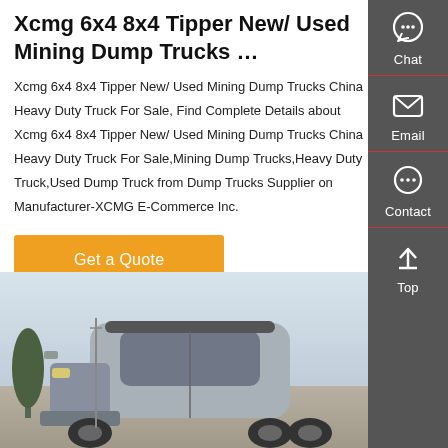Xcmg 6x4 8x4 Tipper New/ Used Mining Dump Trucks …
Xcmg 6x4 8x4 Tipper New/ Used Mining Dump Trucks China Heavy Duty Truck For Sale, Find Complete Details about Xcmg 6x4 8x4 Tipper New/ Used Mining Dump Trucks China Heavy Duty Truck For Sale,Mining Dump Trucks,Heavy Duty Truck,Used Dump Truck from Dump Trucks Supplier on Manufacturer-XCMG E-Commerce Inc.
[Figure (other): Orange 'Get a Quote' button]
[Figure (photo): Photo of a large silver/grey heavy duty truck cab, with trees and rocky landscape in background, sky above]
[Figure (infographic): Dark grey sidebar with Chat, Email, Contact, Top icons and labels]